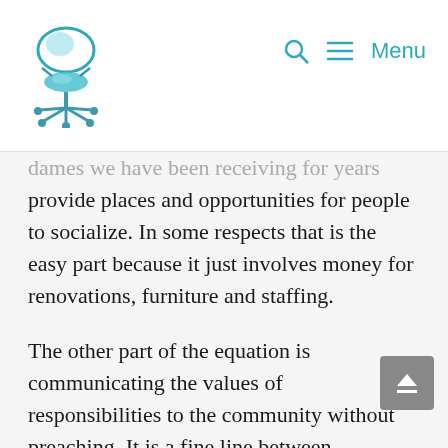[logo] Q ≡ Menu
…dames we have been receiving for years provide places and opportunities for people to socialize. In some respects that is the easy part because it just involves money for renovations, furniture and staffing.
The other part of the equation is communicating the values of responsibilities to the community without preaching. It is a fine line between encouraging people to arrive promptly and remain, and adopting policies which make them feel like they are being punished for breaking the rules. For those with little experience in attending…